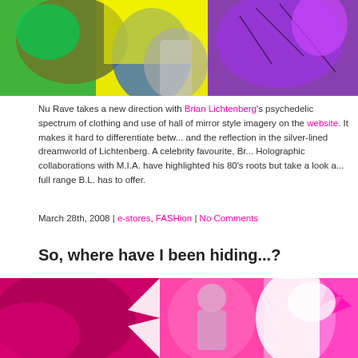[Figure (photo): Colorful psychedelic fashion photo with green, yellow, blue, and purple fabrics against bright yellow background]
Nu Rave takes a new direction with Brian Lichtenberg's psychedelic spectrum of clothing and use of hall of mirror style imagery on the website. It makes it hard to differentiate between and the reflection in the silver-lined dreamworld of Lichtenberg. A celebrity favourite, Br... Holographic collaborations with M.I.A. have highlighted his 80's roots but take a look a... full range B.L. has to offer.
March 28th, 2008 | e-stores, FASHion | No Comments
So, where have I been hiding...?
[Figure (photo): Collage of magenta/pink fashion photos with abstract star shapes and figures in bright pink tones]